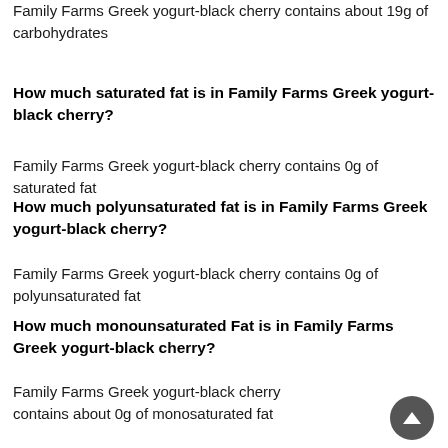Family Farms Greek yogurt-black cherry contains about 19g of carbohydrates
How much saturated fat is in Family Farms Greek yogurt-black cherry?
Family Farms Greek yogurt-black cherry contains 0g of saturated fat
How much polyunsaturated fat is in Family Farms Greek yogurt-black cherry?
Family Farms Greek yogurt-black cherry contains 0g of polyunsaturated fat
How much monounsaturated Fat is in Family Farms Greek yogurt-black cherry?
Family Farms Greek yogurt-black cherry contains about 0g of monosaturated fat
How much cholesterol is in Family Farms Greek yogurt-black cherry?
Family Farms Greek yogurt-black cherry contains about 5mg of